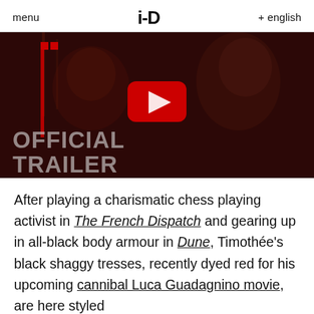menu   i-D   + english
[Figure (screenshot): YouTube video thumbnail showing two people in a dark scene with text overlay 'OFFICIAL TRAILER' and a YouTube play button in the center]
After playing a charismatic chess playing activist in The French Dispatch and gearing up in all-black body armour in Dune, Timothée's black shaggy tresses, recently dyed red for his upcoming cannibal Luca Guadagnino movie, are here styled